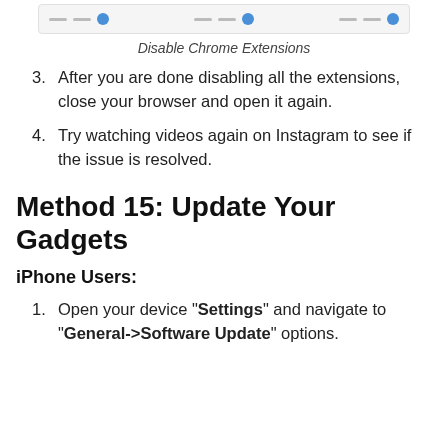[Figure (screenshot): Screenshot showing Chrome extension toggle switches in a browser interface]
Disable Chrome Extensions
After you are done disabling all the extensions, close your browser and open it again.
Try watching videos again on Instagram to see if the issue is resolved.
Method 15: Update Your Gadgets
iPhone Users:
Open your device “Settings” and navigate to “General->Software Update” options.